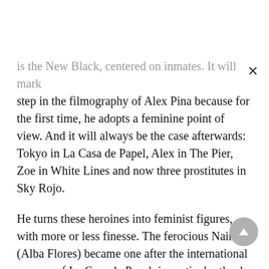is the New Black, centered on inmates. It will mark step in the filmography of Alex Pina because for the first time, he adopts a feminine point of view. And it will always be the case afterwards: Tokyo in La Casa de Papel, Alex in The Pier, Zoe in White Lines and now three prostitutes in Sky Rojo.
He turns these heroines into feminist figures, with more or less finesse. The ferocious Nairobi (Alba Flores) became one after the international success of La Casa de Papel, in particular thanks to its cult replica “Empieza el matriarcado(Matriarchy begins) Stockholm will join her in Season 3 when she retorts Denver that he’s a ‘fucking sexist’ when he